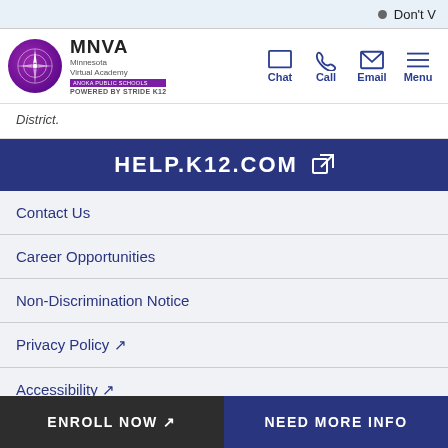Don't V
[Figure (logo): MNVA Minnesota Virtual Academy logo with compass rose in purple circle, POWERED BY STRIDE K12]
District.
HELP.K12.COM
Contact Us
Career Opportunities
Non-Discrimination Notice
Privacy Policy
Accessibility
ENROLL NOW
NEED MORE INFO